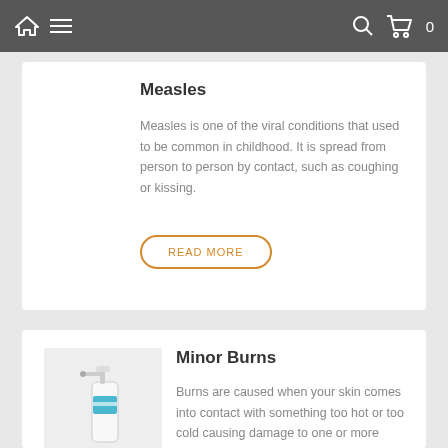Navigation bar with home icon, menu icon, search icon, cart icon (0 items)
Measles
Measles is one of the viral conditions that used to be common in childhood. It is spread from person to person by contact, such as coughing or kissing.
READ MORE
[Figure (photo): Product photo of a spray bottle with blue and white label against a light grey background]
Minor Burns
Burns are caused when your skin comes into contact with something too hot or too cold causing damage to one or more layers of skin. They may be caused by liquids (generally called scalds) or by being exposed to